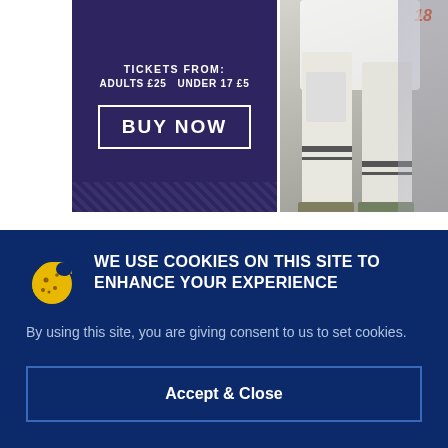[Figure (screenshot): Dark purple/navy banner ad showing ticket purchase info: TICKETS FROM: ADULTS £25 UNDER 17 £5, with BUY NOW button in white border box]
[Figure (photo): Photo of soccer/football players legs in white kits and striped socks, number 18 jersey visible]
[Figure (screenshot): Blue gradient advertisement banner reading GET TO MATCH DAY SAFELY with photo of blonde female fan looking upward, X close button in top right]
WE USE COOKIES ON THIS SITE TO ENHANCE YOUR EXPERIENCE
By using this site, you are giving consent to us to set cookies.
Accept & Close